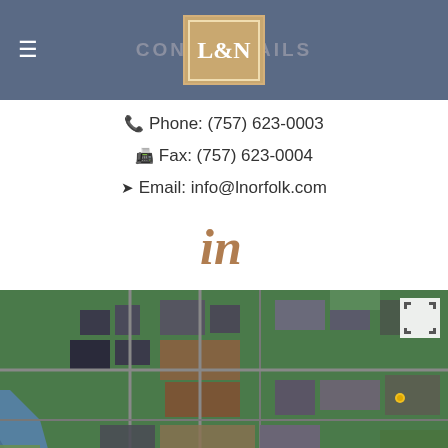CONTACT DETAILS
Phone: (757) 623-0003
Fax: (757) 623-0004
Email: info@lnorfolk.com
[Figure (logo): LinkedIn icon in gold/brown color]
[Figure (map): Aerial satellite map view of downtown Norfolk, VA area showing urban buildings and streets]